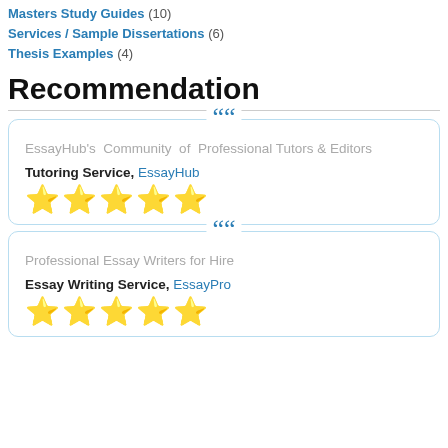Masters Study Guides (10)
Services / Sample Dissertations (6)
Thesis Examples (4)
Recommendation
[Figure (infographic): Review card with quote icon, text: EssayHub's Community of Professional Tutors & Editors, Tutoring Service, EssayHub, 5 star rating]
[Figure (infographic): Review card with quote icon, text: Professional Essay Writers for Hire, Essay Writing Service, EssayPro, 5 star rating]